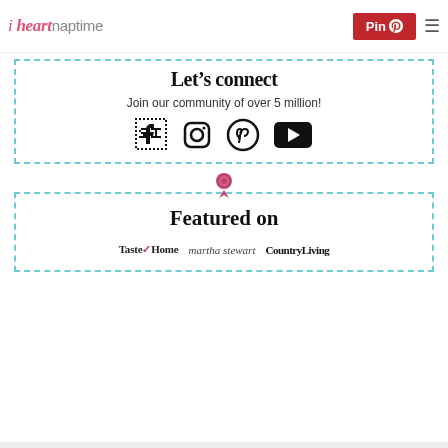i heart naptime | Pin | ☰
Let's connect
Join our community of over 5 million!
[Figure (illustration): Social media icons: Facebook, Instagram, Pinterest, YouTube]
[Figure (illustration): Award/ribbon icon above Featured on box]
Featured on
[Figure (illustration): Publication logos: Taste of Home, martha stewart, CountryLiving]